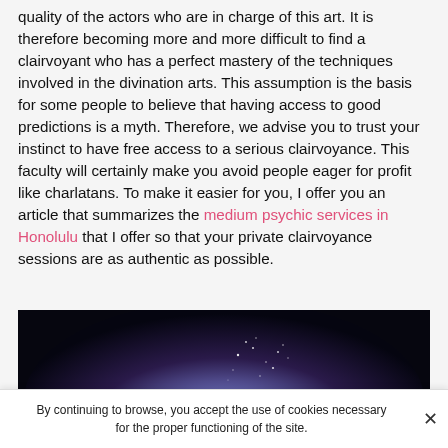quality of the actors who are in charge of this art. It is therefore becoming more and more difficult to find a clairvoyant who has a perfect mastery of the techniques involved in the divination arts. This assumption is the basis for some people to believe that having access to good predictions is a myth. Therefore, we advise you to trust your instinct to have free access to a serious clairvoyance. This faculty will certainly make you avoid people eager for profit like charlatans. To make it easier for you, I offer you an article that summarizes the medium psychic services in Honolulu that I offer so that your private clairvoyance sessions are as authentic as possible.
[Figure (photo): Dark mystical image with a purple/violet glowing orb or light source in the center, silhouettes of two figures on either side, and small white sparkle dots scattered in the light — evoking a psychic or mystical atmosphere.]
By continuing to browse, you accept the use of cookies necessary for the proper functioning of the site.